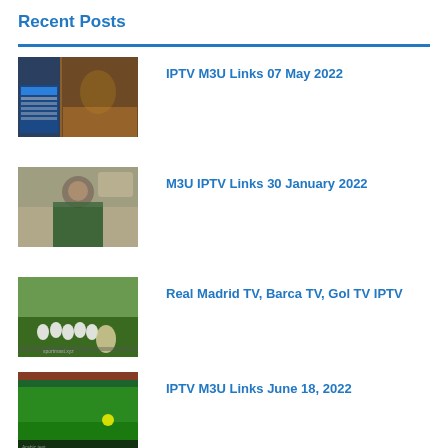Recent Posts
[Figure (screenshot): Thumbnail image of football/soccer match with IPTV channel list overlay]
IPTV M3U Links 07 May 2022
[Figure (screenshot): Thumbnail image of a man in a cap indoors]
M3U IPTV Links 30 January 2022
[Figure (screenshot): Thumbnail image of football players on field with woman reporter]
Real Madrid TV, Barca TV, Gol TV IPTV
[Figure (screenshot): Thumbnail image of football match on green pitch]
IPTV M3U Links June 18, 2022